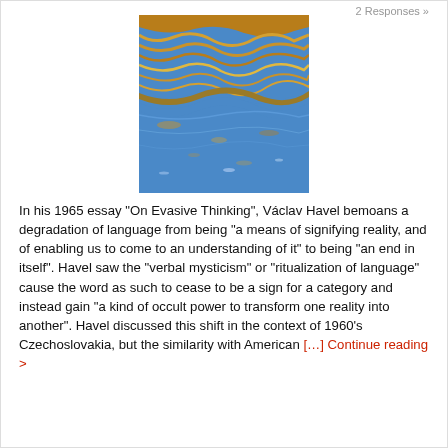2 Responses »
[Figure (photo): Abstract photo of water reflections with golden/orange wavy patterns over blue water surface]
In his 1965 essay "On Evasive Thinking", Václav Havel bemoans a degradation of language from being "a means of signifying reality, and of enabling us to come to an understanding of it" to being "an end in itself". Havel saw the "verbal mysticism" or "ritualization of language" cause the word as such to cease to be a sign for a category and instead gain "a kind of occult power to transform one reality into another". Havel discussed this shift in the context of 1960's Czechoslovakia, but the similarity with American [...] Continue reading >